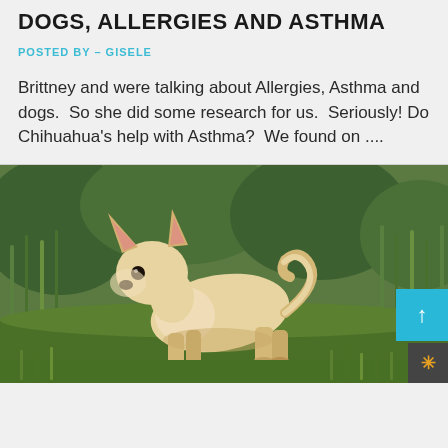DOGS, ALLERGIES AND ASTHMA
POSTED BY – GISELE
Brittney and were talking about Allergies, Asthma and dogs.  So she did some research for us.  Seriously! Do Chihuahua's help with Asthma?  We found on ....
[Figure (photo): A small cream/tan Chihuahua dog standing in green grass, looking to the left, with a curled tail. Background is lush green grass and foliage.]